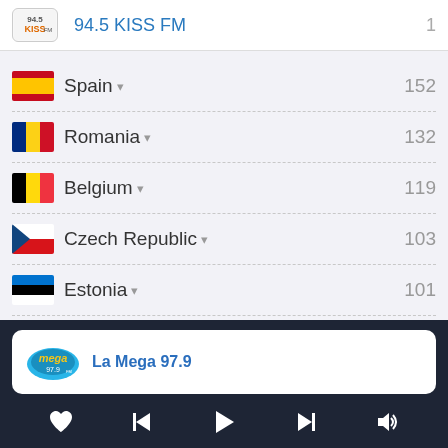[Figure (screenshot): 94.5 KISS FM radio app header with logo and number 1]
Spain 152
Romania 132
Belgium 119
Czech Republic 103
Estonia 101
Slovenia 75
[Figure (screenshot): Now playing: La Mega 97.9 with media controls bar at the bottom]